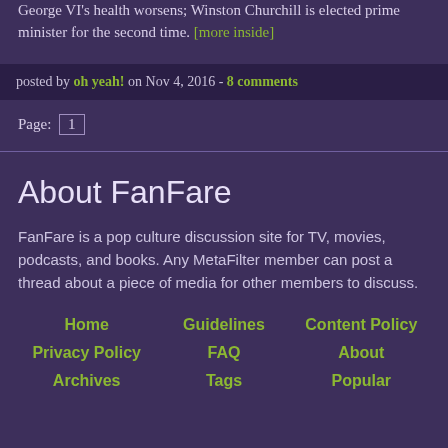George VI's health worsens; Winston Churchill is elected prime minister for the second time. [more inside]
posted by oh yeah! on Nov 4, 2016 - 8 comments
Page: 1
About FanFare
FanFare is a pop culture discussion site for TV, movies, podcasts, and books. Any MetaFilter member can post a thread about a piece of media for other members to discuss.
Home
Guidelines
Content Policy
Privacy Policy
FAQ
About
Archives
Tags
Popular